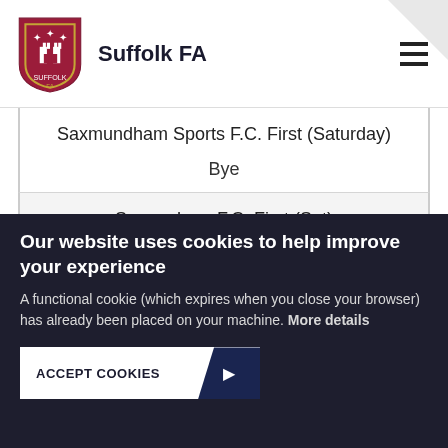Suffolk FA
Saxmundham Sports F.C. First (Saturday)
Bye
Somersham F.C. First (Sat)
Bye
Our website uses cookies to help improve your experience
A functional cookie (which expires when you close your browser) has already been placed on your machine. More details
ACCEPT COOKIES